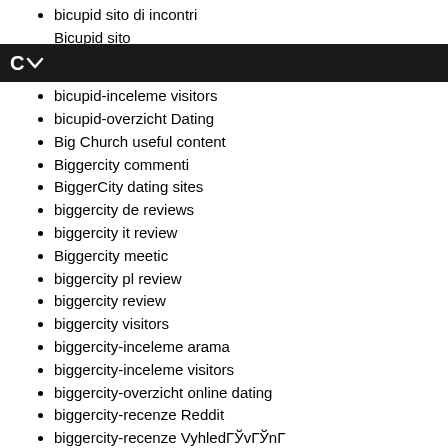bicupid sito di incontri
Bicupid sito...
C~
bicupid-inceleme visitors
bicupid-overzicht Dating
Big Church useful content
Biggercity commenti
BiggerCity dating sites
biggercity de reviews
biggercity it review
Biggercity meetic
biggercity pl review
biggercity review
biggercity visitors
biggercity-inceleme arama
biggercity-inceleme visitors
biggercity-overzicht online dating
biggercity-recenze Reddit
biggercity-recenze VyhledГЎvГЎnГ
Biker Dating Apps reddit
Biker Dating conseils pour un
Biker Dating hookup
Biker Dating Sites online
Biker Dating Sites site
Biker Dating Sites username